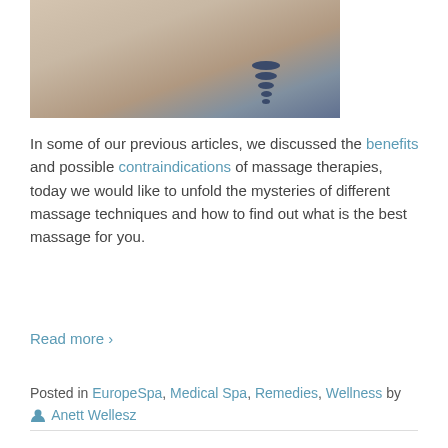[Figure (photo): Massage therapy image with stacked dark stones on a person's back, warm beige tones]
In some of our previous articles, we discussed the benefits and possible contraindications of massage therapies, today we would like to unfold the mysteries of different massage techniques and how to find out what is the best massage for you.
Read more ›
Posted in EuropeSpa, Medical Spa, Remedies, Wellness by Anett Wellesz
[Figure (photo): Second article image, partially visible, showing a spa or wellness setting with warm round shape]